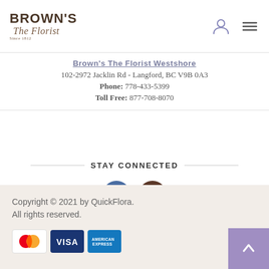[Figure (logo): Brown's The Florist logo with 'Since 1812' tagline]
Brown's The Florist Westshore
102-2972 Jacklin Rd - Langford, BC V9B 0A3
Phone: 778-433-5399
Toll Free: 877-708-8070
STAY CONNECTED
[Figure (illustration): Facebook and Instagram social media circular icon buttons]
Copyright © 2021 by QuickFlora. All rights reserved.
[Figure (illustration): Payment method logos: MasterCard, Visa, American Express]